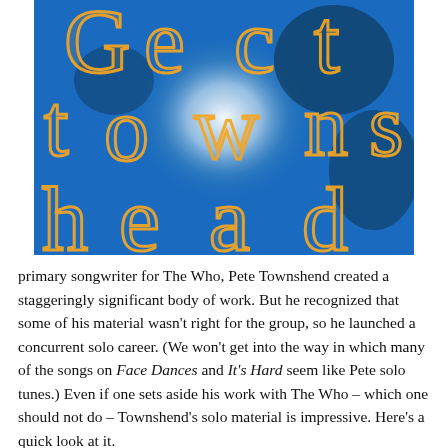[Figure (illustration): Album art with blue background and blurred face silhouette, large orange outlined decorative letters spelling 'Pete Townshend' in stacked arrangement]
primary songwriter for The Who, Pete Townshend created a staggeringly significant body of work. But he recognized that some of his material wasn't right for the group, so he launched a concurrent solo career. (We won't get into the way in which many of the songs on Face Dances and It's Hard seem like Pete solo tunes.) Even if one sets aside his work with The Who – which one should not do – Townshend's solo material is impressive. Here's a quick look at it.